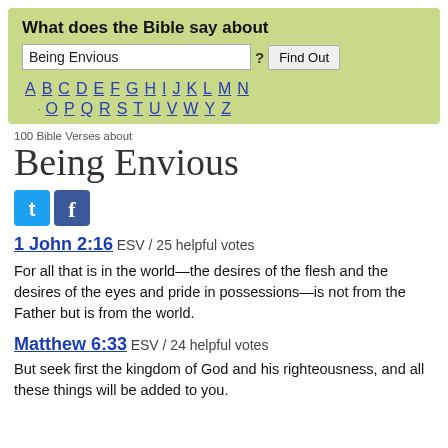What does the Bible say about
Being Envious [search input] ? Find Out
A B C D E F G H I J K L M N O P Q R S T U V W X Y Z
100 Bible Verses about
Being Envious
[Figure (other): Twitter and Facebook social share icons]
1 John 2:16 ESV / 25 helpful votes
For all that is in the world—the desires of the flesh and the desires of the eyes and pride in possessions—is not from the Father but is from the world.
Matthew 6:33 ESV / 24 helpful votes
But seek first the kingdom of God and his righteousness, and all these things will be added to you.